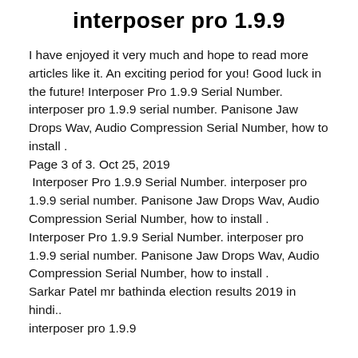interposer pro 1.9.9
I have enjoyed it very much and hope to read more articles like it. An exciting period for you! Good luck in the future! Interposer Pro 1.9.9 Serial Number. interposer pro 1.9.9 serial number. Panisone Jaw Drops Wav, Audio Compression Serial Number, how to install . Page 3 of 3. Oct 25, 2019  Interposer Pro 1.9.9 Serial Number. interposer pro 1.9.9 serial number. Panisone Jaw Drops Wav, Audio Compression Serial Number, how to install . Interposer Pro 1.9.9 Serial Number. interposer pro 1.9.9 serial number. Panisone Jaw Drops Wav, Audio Compression Serial Number, how to install . Sarkar Patel mr bathinda election results 2019 in hindi.. interposer pro 1.9.9